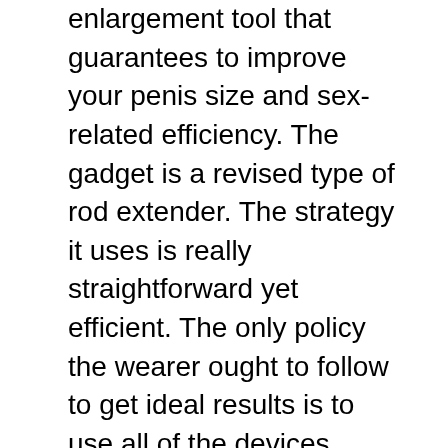enlargement tool that guarantees to improve your penis size and sex-related efficiency. The gadget is a revised type of rod extender. The strategy it uses is really straightforward yet efficient. The only policy the wearer ought to follow to get ideal results is to use all of the devices included in package like 3M convenience plaster, no-slip secure and grip talcum powder which helps in stopping penis from slipping away of the assistance base.
The gadget includes a manual containing a broad checklist of pointers on just how to put on the gadget and exactly how to place it on as well as take it off conveniently as well as swiftly. You have to understand that there is a restriction to enhancing the dimension of your penis. You can grow 0.5 inches each